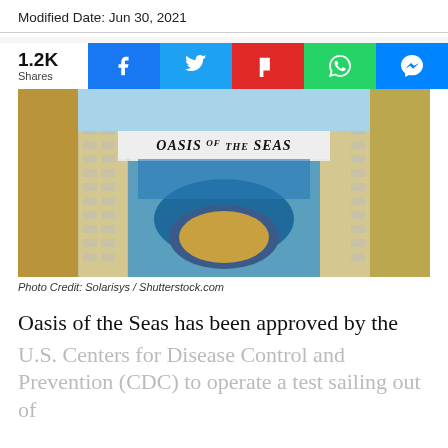Modified Date: Jun 30, 2021
1.2K Shares
[Figure (photo): Aerial view looking down the center of Oasis of the Seas cruise ship, showing the Boardwalk area with a circular stage/aqua theater, balcony cabins on both sides, and the ship's name on the bridge.]
Photo Credit: Solarisys / Shutterstock.com
Oasis of the Seas has been approved by the U.S. Centers for Disease Control and Prevention (CDC) to operate a test sailing out of